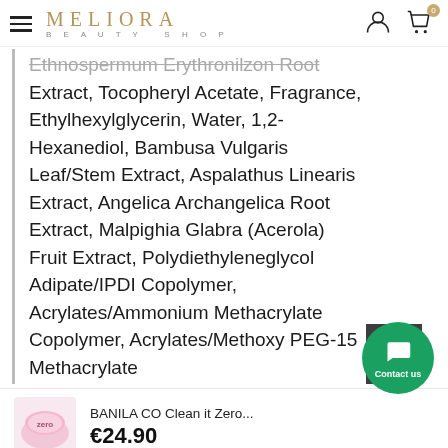MELIORA BEAUTY SHOP
Ethnospermum Erythronilzon Root Extract, Tocopheryl Acetate, Fragrance, Ethylhexylglycerin, Water, 1,2-Hexanediol, Bambusa Vulgaris Leaf/Stem Extract, Aspalathus Linearis Extract, Angelica Archangelica Root Extract, Malpighia Glabra (Acerola) Fruit Extract, Polydiethyleneglycol Adipate/IPDI Copolymer, Acrylates/Ammonium Methacrylate Copolymer, Acrylates/Methoxy PEG-15 Methacrylate
BANILA CO Clean it Zero...
€24.90
ADD TO CART
Contact us